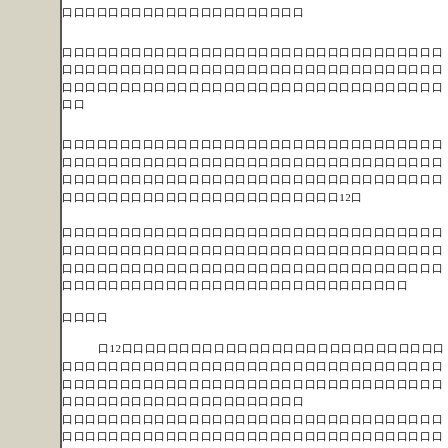日本語テキストが含まれるリーガルドキュメントのページです。
インデントされたテキストブロックが複数含まれています。
12に関連する条項が記載されています。
さらなる条項の説明テキスト。
口口口口
口12口に関連する条項テキストが続きます。
口口口口
追加の条項テキストが続きます。
さらなる条項の説明。
最後の条項テキスト。